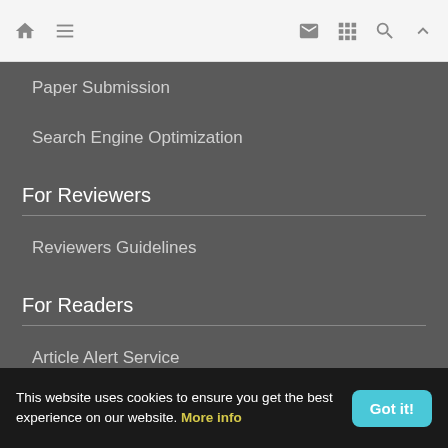Navigation bar with home, menu, email, grid, search, and up icons
Paper Submission
Search Engine Optimization
For Reviewers
Reviewers Guidelines
For Readers
Article Alert Service
RSS Feeds
SISEF Publishing
This website uses cookies to ensure you get the best experience on our website. More info
Got it!